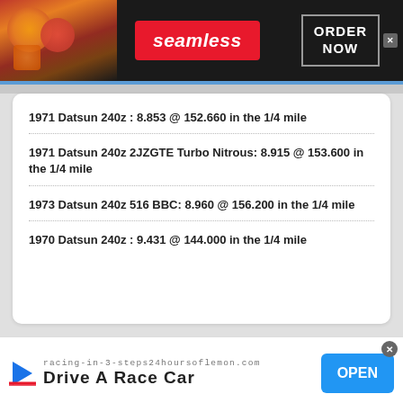[Figure (other): Seamless food delivery advertisement banner with pizza image, red Seamless logo badge, and ORDER NOW button]
1971 Datsun 240z : 8.853 @ 152.660 in the 1/4 mile
1971 Datsun 240z 2JZGTE Turbo Nitrous: 8.915 @ 153.600 in the 1/4 mile
1973 Datsun 240z 516 BBC: 8.960 @ 156.200 in the 1/4 mile
1970 Datsun 240z : 9.431 @ 144.000 in the 1/4 mile
[Figure (other): Drive A Race Car advertisement - racing-in-3-steps24hoursoflemon.com with OPEN button]